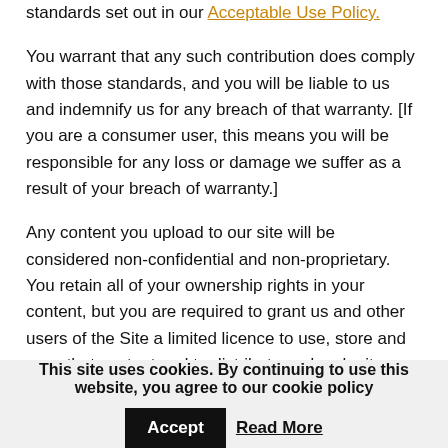standards set out in our Acceptable Use Policy.
You warrant that any such contribution does comply with those standards, and you will be liable to us and indemnify us for any breach of that warranty. [If you are a consumer user, this means you will be responsible for any loss or damage we suffer as a result of your breach of warranty.]
Any content you upload to our site will be considered non-confidential and non-proprietary. You retain all of your ownership rights in your content, but you are required to grant us and other users of the Site a limited licence to use, store and copy that content and to distribute and make it available to third parties. The rights you license to us are described in the next paragraph (Rights you licence).
This site uses cookies. By continuing to use this website, you agree to our cookie policy  Accept  Read More